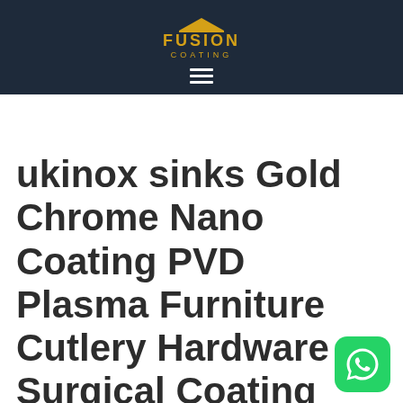[Figure (logo): Fusion Coating logo with yellow triangle, FUSION text in yellow, and COATING subtitle, on dark navy background with hamburger menu icon below]
ukinox sinks Gold Chrome Nano Coating PVD Plasma Furniture Cutlery Hardware Surgical Coating
[Figure (illustration): WhatsApp button icon, green rounded square with white telephone handset logo]